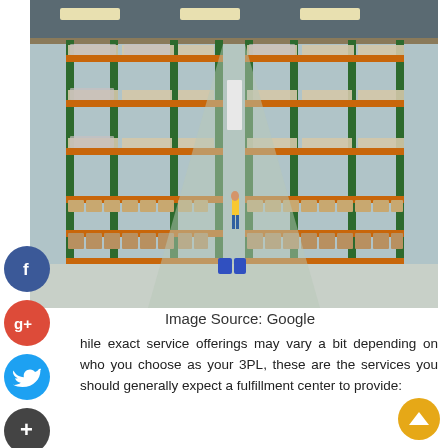[Figure (photo): Interior of a large warehouse with tall orange and green metal shelving racks stacked with pallets of goods. A worker in a yellow vest walks down the central aisle. Blue bins are visible on the floor.]
Image Source: Google
hile exact service offerings may vary a bit depending on who you choose as your 3PL, these are the services you should generally expect a fulfillment center to provide: